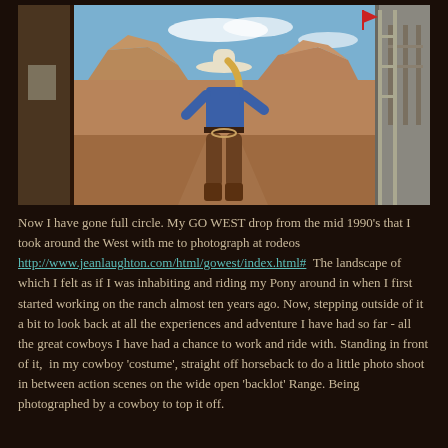[Figure (photo): A person dressed in cowboy/cowgirl costume with white hat, blue denim shirt, chaps, and boots, standing in front of a painted western landscape backdrop. The backdrop shows a desert scene with mesa formations and blue sky. Wooden barn structures are visible on either side.]
Now I have gone full circle. My GO WEST drop from the mid 1990's that I took around the West with me to photograph at rodeos http://www.jeanlaughton.com/html/gowest/index.html#  The landscape of which I felt as if I was inhabiting and riding my Pony around in when I first started working on the ranch almost ten years ago. Now, stepping outside of it a bit to look back at all the experiences and adventure I have had so far - all the great cowboys I have had a chance to work and ride with. Standing in front of it,  in my cowboy 'costume', straight off horseback to do a little photo shoot in between action scenes on the wide open 'backlot' Range. Being photographed by a cowboy to top it off.